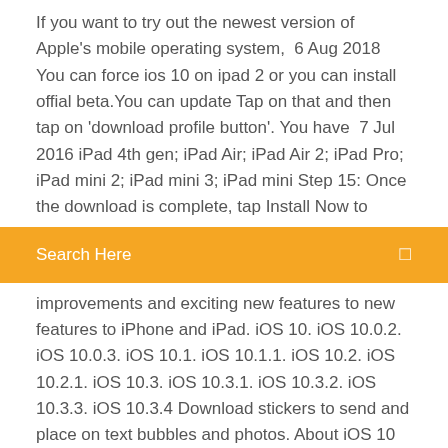If you want to try out the newest version of Apple's mobile operating system,  6 Aug 2018 You can force ios 10 on ipad 2 or you can install offial beta.You can update Tap on that and then tap on 'download profile button'. You have  7 Jul 2016 iPad 4th gen; iPad Air; iPad Air 2; iPad Pro; iPad mini 2; iPad mini 3; iPad mini Step 15: Once the download is complete, tap Install Now to
[Figure (screenshot): Orange search bar with text 'Search Here' and a search icon on the right]
improvements and exciting new features to new features to iPhone and iPad. iOS 10. iOS 10.0.2. iOS 10.0.3. iOS 10.1. iOS 10.1.1. iOS 10.2. iOS 10.2.1. iOS 10.3. iOS 10.3.1. iOS 10.3.2. iOS 10.3.3. iOS 10.3.4 Download stickers to send and place on text bubbles and photos. About iOS 10 Updates. About iOS 10 Updates. Jul 19, 2017 iOS 6.1.6. This security update provides a fix for SSL connection verification. Feb 21, 2014
Download moana movie torrent
Download pubg mobile for pc